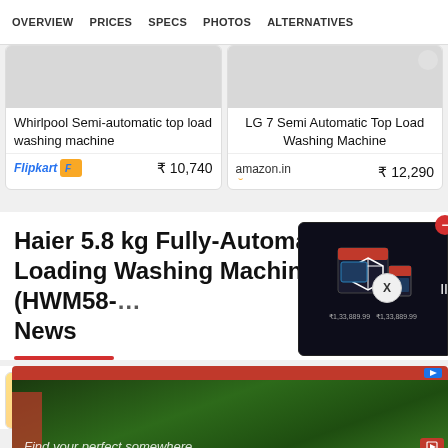OVERVIEW   PRICES   SPECS   PHOTOS   ALTERNATIVES
Whirlpool Semi-automatic top load washing machine
Flipkart  ₹ 10,740
LG 7 Semi Automatic Top Load Washing Machine
amazon.in  ₹ 12,290
Haier 5.8 kg Fully-Automatic Top Loading Washing Machine White (HWM58-... News
[Figure (screenshot): Advertisement overlay showing a dark box product display with pricing ₹1,33,889.99 and a close button]
[Figure (screenshot): Bottom advertisement banner with green background showing 'Find your perfect somewhere' text]